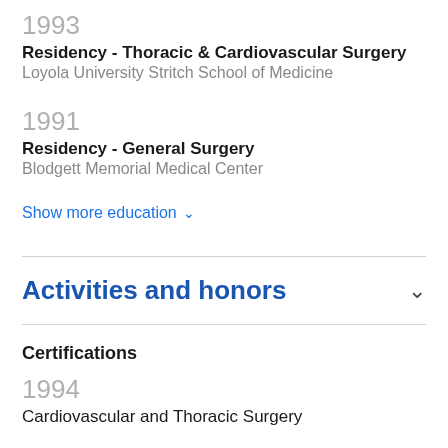1993
Residency - Thoracic & Cardiovascular Surgery
Loyola University Stritch School of Medicine
1991
Residency - General Surgery
Blodgett Memorial Medical Center
Show more education ∨
Activities and honors
Certifications
1994
Cardiovascular and Thoracic Surgery